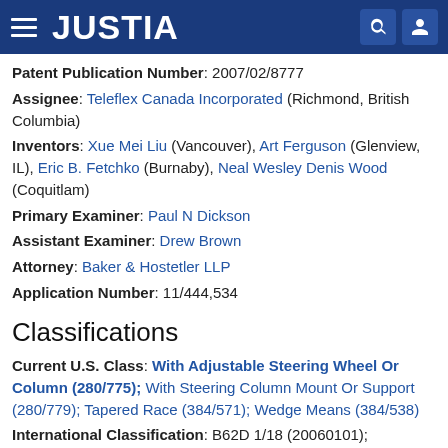JUSTIA
Patent Publication Number: 2007/02/8777
Assignee: Teleflex Canada Incorporated (Richmond, British Columbia)
Inventors: Xue Mei Liu (Vancouver), Art Ferguson (Glenview, IL), Eric B. Fetchko (Burnaby), Neal Wesley Denis Wood (Coquitlam)
Primary Examiner: Paul N Dickson
Assistant Examiner: Drew Brown
Attorney: Baker & Hostetler LLP
Application Number: 11/444,534
Classifications
Current U.S. Class: With Adjustable Steering Wheel Or Column (280/775); With Steering Column Mount Or Support (280/779); Tapered Race (384/571); Wedge Means (384/538)
International Classification: B62D 1/18 (20060101);